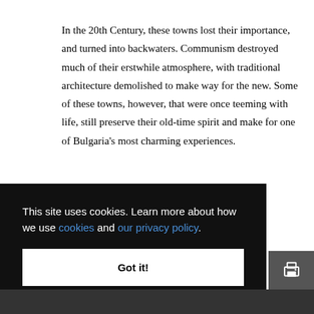In the 20th Century, these towns lost their importance, and turned into backwaters. Communism destroyed much of their erstwhile atmosphere, with traditional architecture demolished to make way for the new. Some of these towns, however, that were once teeming with life, still preserve their old-time spirit and make for one of Bulgaria's most charming experiences.
This site uses cookies. Learn more about how we use cookies and our privacy policy.
Got it!